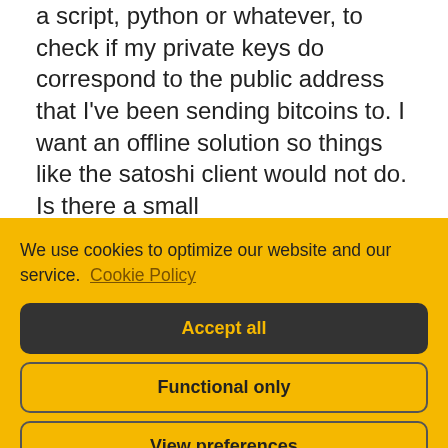a script, python or whatever, to check if my private keys do correspond to the public address that I've been sending bitcoins to. I want an offline solution so things like the satoshi client would not do. Is there a small
We use cookies to optimize our website and our service. Cookie Policy
Accept all
Functional only
View preferences